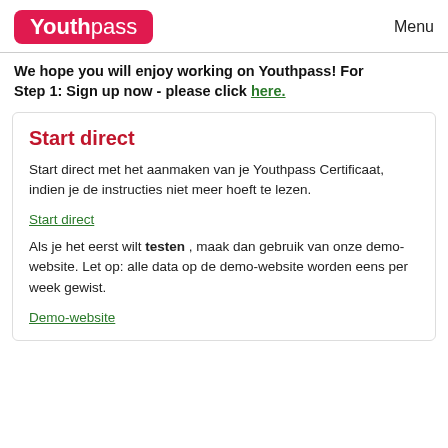Youthpass  Menu
We hope you will enjoy working on Youthpass! For Step 1: Sign up now - please click here.
Start direct
Start direct met het aanmaken van je Youthpass Certificaat, indien je de instructies niet meer hoeft te lezen.
Start direct
Als je het eerst wilt testen , maak dan gebruik van onze demo-website. Let op: alle data op de demo-website worden eens per week gewist.
Demo-website